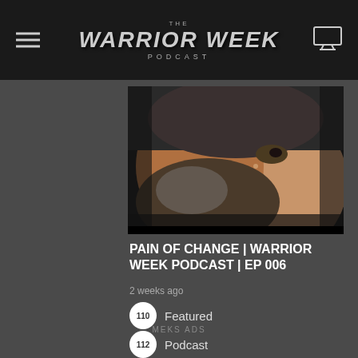THE WARRIOR WEEK PODCAST
[Figure (photo): Close-up photo of a man's face with a beard, partially visible, against a dark background]
PAIN OF CHANGE | Warrior Week Podcast | EP 006
2 weeks ago
110 Featured
112 Podcast
103 Read
MEKS ADS